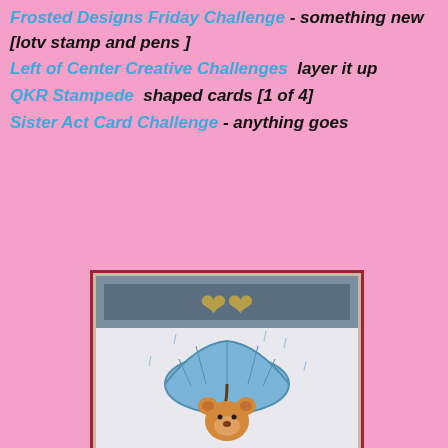Frosted Designs Friday Challenge - something new [lotv stamp and pens ]
Left of Center Creative Challenges  layer it up
QKR Stampede  shaped cards [1 of 4]
Sister Act Card Challenge - anything goes
[Figure (photo): A handmade card showing a cartoon bear holding a blue umbrella in the rain, with decorative elements at the top. The card has a dark brown/maroon border frame.]